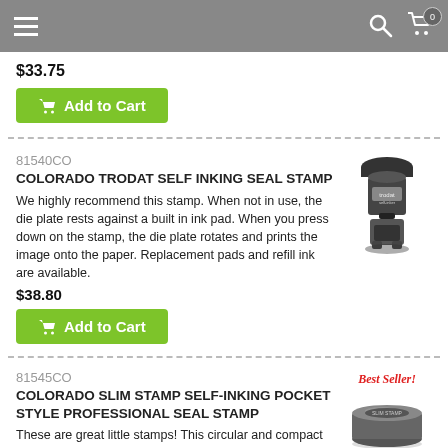Navigation bar with menu, search, and cart (0 items)
$33.75
Add to Cart
81540CO
COLORADO TRODAT SELF INKING SEAL STAMP
We highly recommend this stamp. When not in use, the die plate rests against a built in ink pad. When you press down on the stamp, the die plate rotates and prints the image onto the paper. Replacement pads and refill ink are available.
$38.80
Add to Cart
81545CO
COLORADO SLIM STAMP SELF-INKING POCKET STYLE PROFESSIONAL SEAL STAMP
These are great little stamps! This circular and compact self-inking stamp is an excellent traveler. Take it with you in your pocket, purse or briefcase. It is re-inkable too!
$49.75